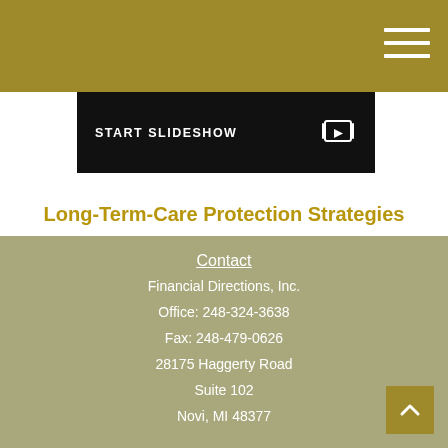[Figure (screenshot): Dark slideshow banner with text START SLIDESHOW and a slideshow/play icon on the right]
Long-Term-Care Protection Strategies
The chances of needing long-term care, its cost, and strategies for covering that cost.
Contact
Financial Directions, Inc.
Office: 248-324-3638
Fax: 248-479-0626
28175 Haggerty Road
Suite 102
Novi, MI 48377